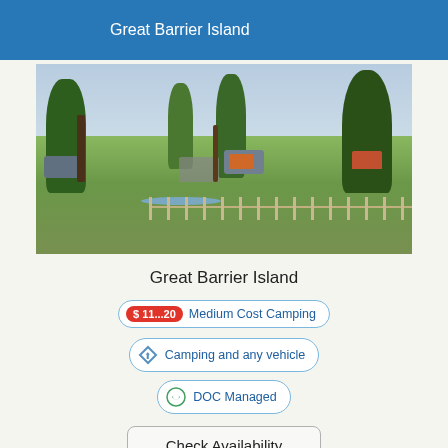Great Barrier Island
[Figure (photo): Outdoor camping scene at Great Barrier Island showing a grassy field with trees, campers, vehicles, tents, and a wooden fence near water]
Great Barrier Island
$ 11...20  Medium Cost Camping
Camping and any vehicle
DOC Managed
Check Availability